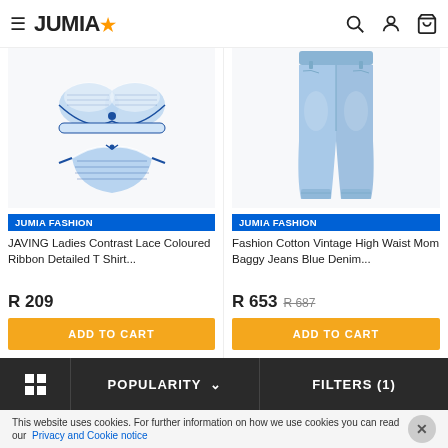JUMIA
[Figure (photo): Blue and white lace bra and underwear set product image]
JUMIA FASHION
JAVING Ladies Contrast Lace Coloured Ribbon Detailed T Shirt...
R 209
ADD TO CART
[Figure (photo): Light blue denim mom jeans product image]
JUMIA FASHION
Fashion Cotton Vintage High Waist Mom Baggy Jeans Blue Denim...
R 653 R 687
ADD TO CART
POPULARITY  FILTERS (1)
This website uses cookies. For further information on how we use cookies you can read our Privacy and Cookie notice